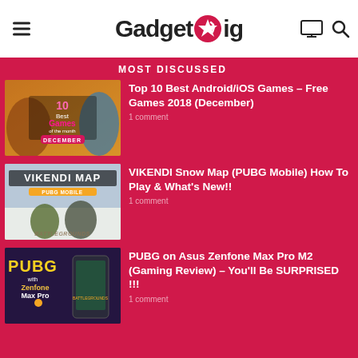GadgetGig
MOST DISCUSSED
[Figure (screenshot): Thumbnail for Top 10 Best Android/iOS Games article showing '10 Best Games of the month December' text on orange background]
Top 10 Best Android/iOS Games – Free Games 2018 (December)
1 comment
[Figure (screenshot): Thumbnail showing 'VIKENDI MAP PUBG MOBILE' with Battlegrounds game imagery]
VIKENDI Snow Map (PUBG Mobile) How To Play & What's New!!
1 comment
[Figure (screenshot): Thumbnail showing 'PUBG with Zenfone Max Pro' branding with phone and game imagery]
PUBG on Asus Zenfone Max Pro M2 (Gaming Review) – You'll Be SURPRISED !!!
1 comment